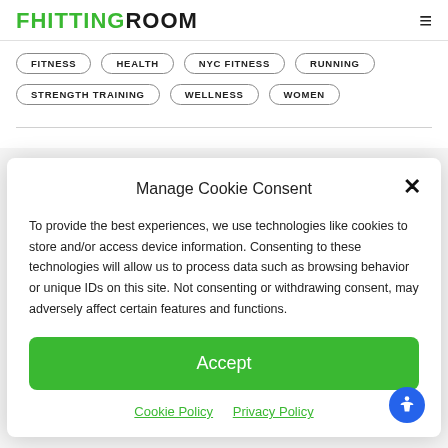FHITTING ROOM
FITNESS
HEALTH
NYC FITNESS
RUNNING
STRENGTH TRAINING
WELLNESS
WOMEN
Manage Cookie Consent
To provide the best experiences, we use technologies like cookies to store and/or access device information. Consenting to these technologies will allow us to process data such as browsing behavior or unique IDs on this site. Not consenting or withdrawing consent, may adversely affect certain features and functions.
Accept
Cookie Policy  Privacy Policy